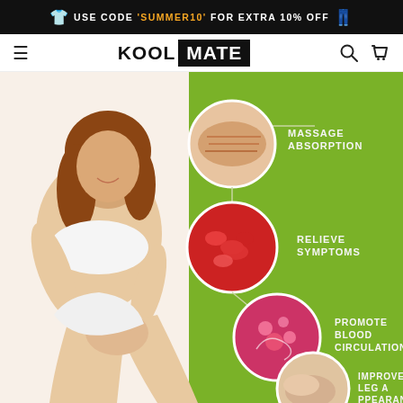USE CODE 'SUMMER10' FOR EXTRA 10% OFF
[Figure (logo): KOOL MATE brand logo with navigation bar including hamburger menu, search and cart icons]
[Figure (infographic): Product infographic showing woman sitting with legs visible, alongside circular images showing massage absorption, relieve symptoms, promote blood circulation, and improve leg appearance on a green background]